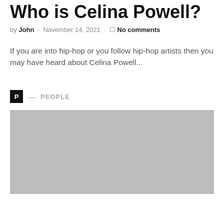Who is Celina Powell?
by John · November 14, 2021 · No comments
If you are into hip-hop or you follow hip-hop artists then you may have heard about Celina Powell...
P — PEOPLE
[Figure (photo): Gray placeholder image for the article about Celina Powell]